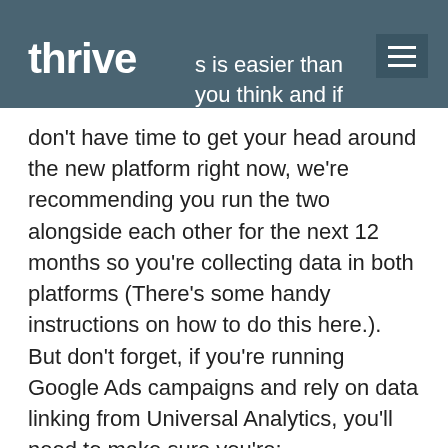thrive
ng is easier than you think and if you don't have time to get your head around the new platform right now, we're recommending you run the two alongside each other for the next 12 months so you're collecting data in both platforms (There's some handy instructions on how to do this here.). But don't forget, if you're running Google Ads campaigns and rely on data linking from Universal Analytics, you'll need to make sure you're:
Moved custom audiences from Universal Analytics to GA4 audience in your campaigns, which is most commonly used for remarketing.
Imported site metrics such as conversions